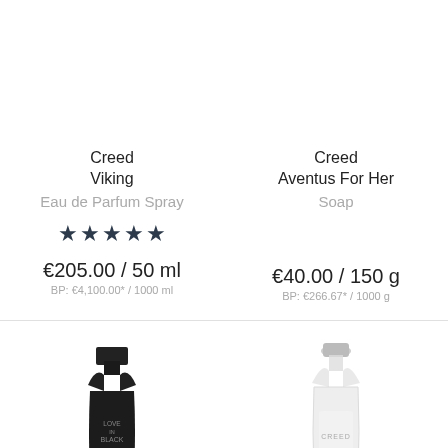Creed
Viking
Eau de Parfum Spray
[Figure (other): Five dark navy star rating icons]
€205.00 / 50 ml
BP: €4,100.00* / 1000 ml
Creed
Aventus For Her
Soap
€40.00 / 150 g
BP: €266.67* / 1000 g
[Figure (photo): Dark black Creed Love in Black perfume bottle with top hat style cap]
[Figure (photo): Clear/white Creed perfume bottle with silver cap]